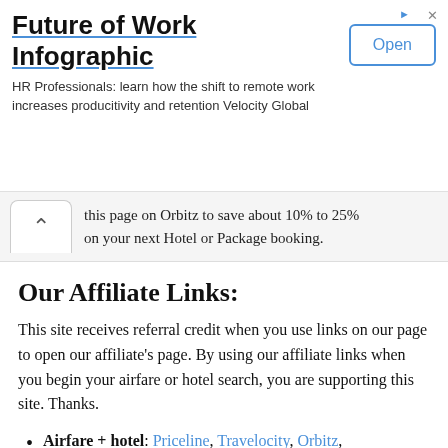[Figure (infographic): Ad banner: Future of Work Infographic. HR Professionals: learn how the shift to remote work increases producitivity and retention Velocity Global. Open button.]
this page on Orbitz to save about 10% to 25% on your next Hotel or Package booking.
Our Affiliate Links:
This site receives referral credit when you use links on our page to open our affiliate's page. By using our affiliate links when you begin your airfare or hotel search, you are supporting this site. Thanks.
Airfare + hotel: Priceline, Travelocity, Orbitz, CheapTickets.com, Expedia, Hotwire, Skyscanner, Kayak
Vacation rentals: Vrbo
Airlines: Iberia, Hawaiian Airlines,